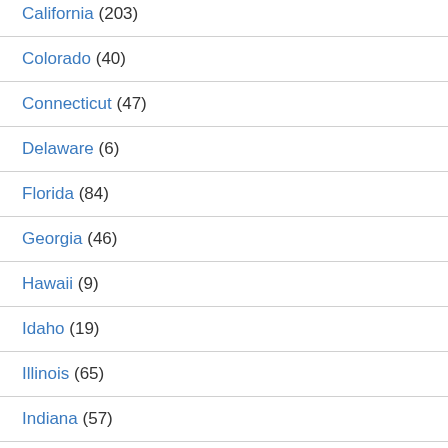California (203)
Colorado (40)
Connecticut (47)
Delaware (6)
Florida (84)
Georgia (46)
Hawaii (9)
Idaho (19)
Illinois (65)
Indiana (57)
Iowa (35)
Kansas (30)